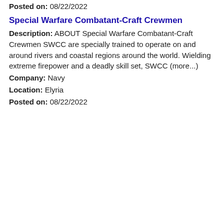Posted on: 08/22/2022
Special Warfare Combatant-Craft Crewmen
Description: ABOUT Special Warfare Combatant-Craft Crewmen SWCC are specially trained to operate on and around rivers and coastal regions around the world. Wielding extreme firepower and a deadly skill set, SWCC (more...)
Company: Navy
Location: Elyria
Posted on: 08/22/2022